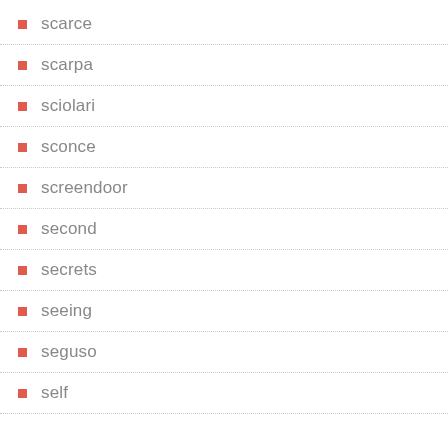scarce
scarpa
sciolari
sconce
screendoor
second
secrets
seeing
seguso
self